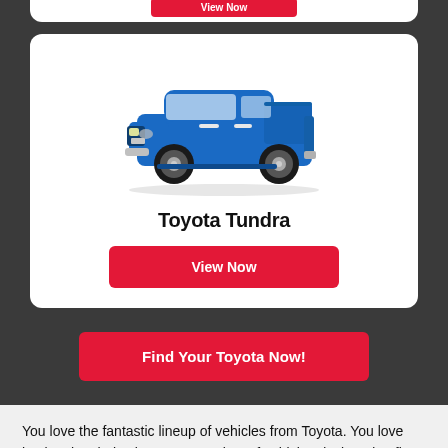[Figure (photo): Blue Toyota Tundra pickup truck, side-front view]
Toyota Tundra
View Now
Find Your Toyota Now!
You love the fantastic lineup of vehicles from Toyota. You love having the choice between a variety of vehicles designed to fit